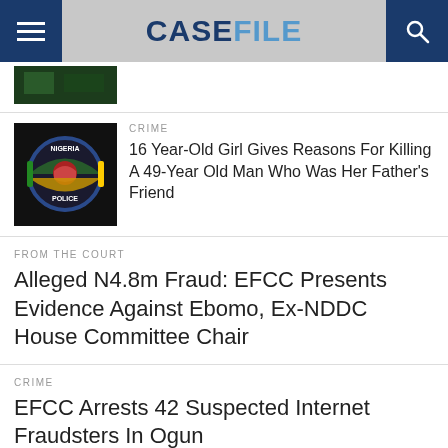CASEFILE
[Figure (photo): Partial thumbnail image at top, dark green tones]
CRIME
16 Year-Old Girl Gives Reasons For Killing A 49-Year Old Man Who Was Her Father's Friend
FROM THE COURT
Alleged N4.8m Fraud: EFCC Presents Evidence Against Ebomo, Ex-NDDC House Committee Chair
CRIME
EFCC Arrests 42 Suspected Internet Fraudsters In Ogun
HEALTH
Innana Foundation, Others Partner EKO Hospital, Screen 1,500 Women For